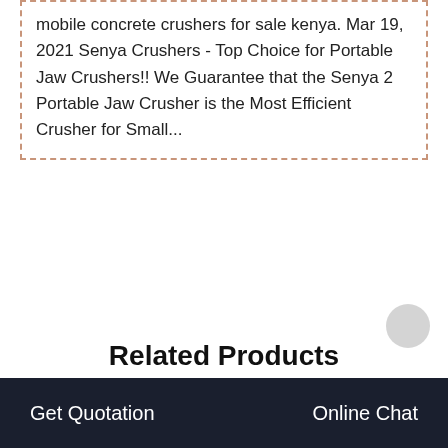mobile concrete crushers for sale kenya. Mar 19, 2021 Senya Crushers - Top Choice for Portable Jaw Crushers!! We Guarantee that the Senya 2 Portable Jaw Crusher is the Most Efficient Crusher for Small...
Related Products
Get Quotation    Online Chat